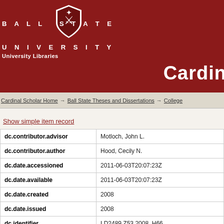Ball State University Libraries — Cardinal Scholar
Cardinal Scholar Home → Ball State Theses and Dissertations → College
Show simple item record
| Field | Value |
| --- | --- |
| dc.contributor.advisor | Motloch, John L. |
| dc.contributor.author | Hood, Cecily N. |
| dc.date.accessioned | 2011-06-03T20:07:23Z |
| dc.date.available | 2011-06-03T20:07:23Z |
| dc.date.created | 2008 |
| dc.date.issued | 2008 |
| dc.identifier | LD2489.Z53 2008 .H66 |
| dc.identifier.uri | http://cardinalscholar.bsu.edu/handle/hand |